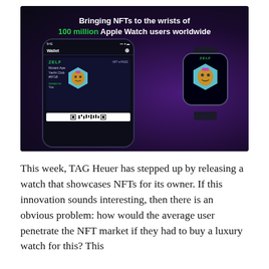[Figure (screenshot): Promotional image on dark background showing a smartphone and Apple Watch displaying the ZELF NFT wallet app. Text reads: 'Bringing NFTs to the wrists of 100 million Apple Watch users worldwide'. Phone shows ZELF wallet with Mutant Ape Yacht Club #9718 NFT owned by 'You'. Apple Watch shows the same NFT as watch face.]
This week, TAG Heuer has stepped up by releasing a watch that showcases NFTs for its owner. If this innovation sounds interesting, then there is an obvious problem: how would the average user penetrate the NFT market if they had to buy a luxury watch for this? This